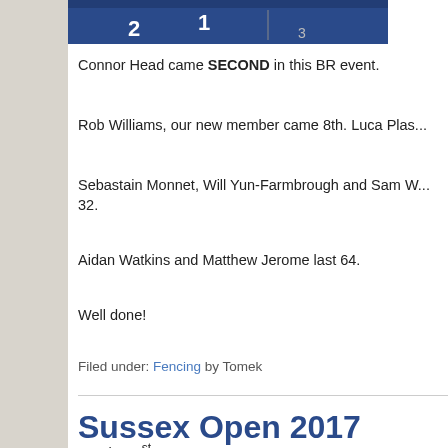[Figure (photo): Photo of a fencing podium with numbers 2, 1, 3 visible on a blue backdrop]
Connor Head came SECOND in this BR event.
Rob Williams, our new member came 8th. Luca Plas...
Sebastain Monnet, Will Yun-Farmbrough and Sam W... 32.
Aidan Watkins and Matthew Jerome last 64.
Well done!
Filed under: Fencing by Tomek
Sussex Open 2017
October 1st, 2017